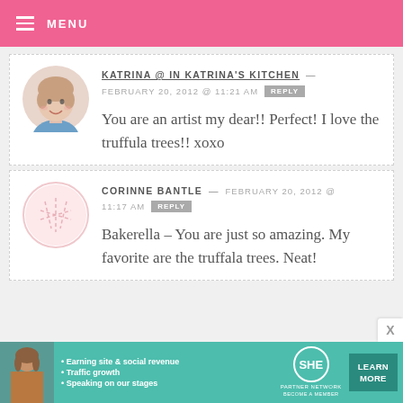MENU
KATRINA @ IN KATRINA'S KITCHEN — FEBRUARY 20, 2012 @ 11:21 AM REPLY
You are an artist my dear!! Perfect! I love the truffula trees!! xoxo
CORINNE BANTLE — FEBRUARY 20, 2012 @ 11:17 AM REPLY
Bakerella – You are just so amazing. My favorite are the truffala trees. Neat!
[Figure (infographic): SHE Partner Network advertisement banner with woman photo, bullet points about earning site & social revenue, traffic growth, speaking on our stages, and a Learn More button]